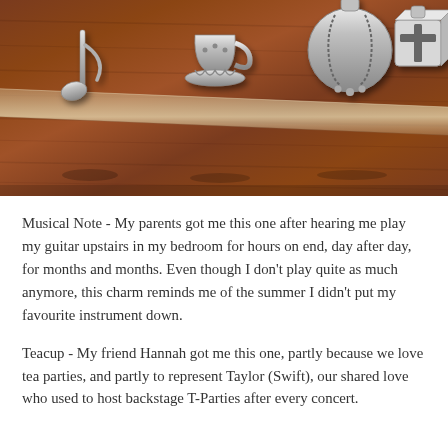[Figure (photo): Close-up photo of silver charms on a wooden surface: a musical note charm, a teacup/mushroom charm, a baseball charm, and a cube charm with a cross symbol. A diagonal leather cord or strap is visible across the wooden surface.]
Musical Note - My parents got me this one after hearing me play my guitar upstairs in my bedroom for hours on end, day after day, for months and months. Even though I don't play quite as much anymore, this charm reminds me of the summer I didn't put my favourite instrument down.
Teacup - My friend Hannah got me this one, partly because we love tea parties, and partly to represent Taylor (Swift), our shared love who used to host backstage T-Parties after every concert.